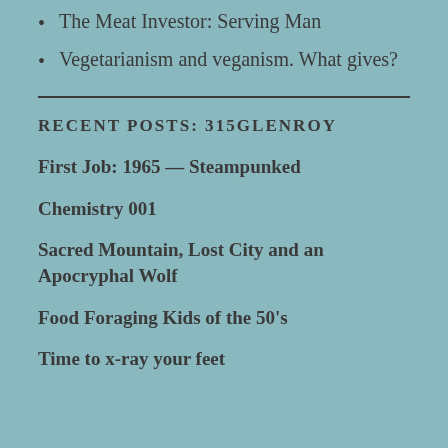The Meat Investor: Serving Man
Vegetarianism and veganism. What gives?
RECENT POSTS: 315GLENROY
First Job: 1965 — Steampunked
Chemistry 001
Sacred Mountain, Lost City and an Apocryphal Wolf
Food Foraging Kids of the 50's
Time to x-ray your feet